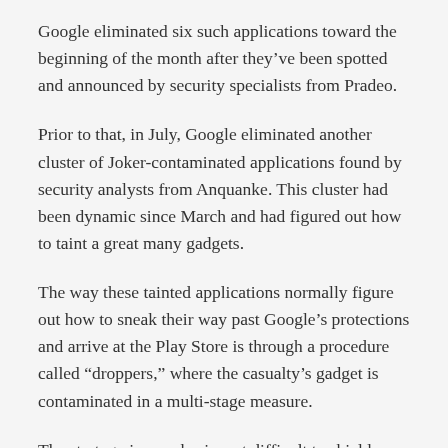Google eliminated six such applications toward the beginning of the month after they've been spotted and announced by security specialists from Pradeo.
Prior to that, in July, Google eliminated another cluster of Joker-contaminated applications found by security analysts from Anquanke. This cluster had been dynamic since March and had figured out how to taint a great many gadgets.
The way these tainted applications normally figure out how to sneak their way past Google's protections and arrive at the Play Store is through a procedure called “droppers,” where the casualty’s gadget is contaminated in a multi-stage measure.
The strategy is very basic, yet difficult to shield against, from Google’s point of view.
Malware creators start by cloning the usefulness of an authentic application and transferring it on the Play Store. This